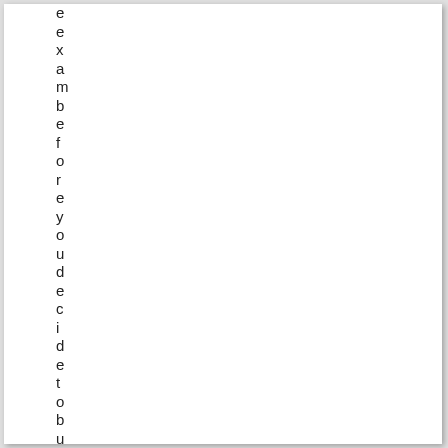e
e
x
a
m
b
e
f
o
r
e
y
o
u
d
e
c
i
d
e
t
o
b
u
y